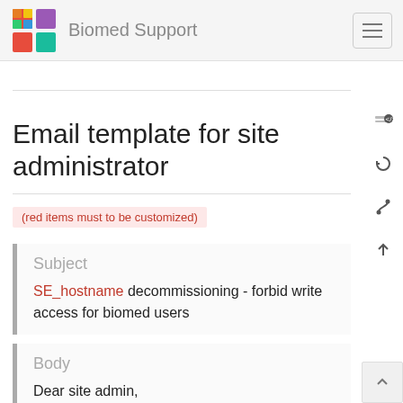Biomed Support
Email template for site administrator
(red items must to be customized)
Subject
SE_hostname decommissioning - forbid write access for biomed users
Body
Dear site admin,
The storage element SE_hostname is going to be decommissioned. As it supports VO biomed, we will